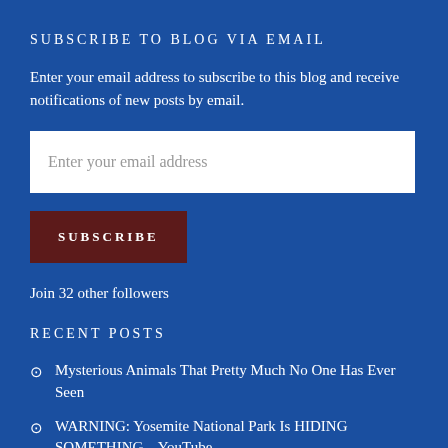SUBSCRIBE TO BLOG VIA EMAIL
Enter your email address to subscribe to this blog and receive notifications of new posts by email.
Enter your email address
SUBSCRIBE
Join 32 other followers
RECENT POSTS
Mysterious Animals That Pretty Much No One Has Ever Seen
WARNING: Yosemite National Park Is HIDING SOMETHING – YouTube